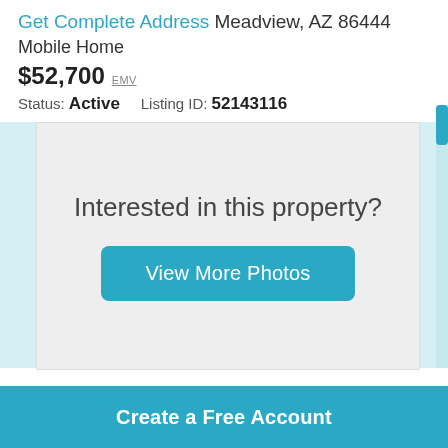Get Complete Address Meadview, AZ 86444
Mobile Home
$52,700 EMV
Status: Active    Listing ID: 52143116
[Figure (screenshot): Blurred property photo overlay with 'Interested in this property?' text and 'View More Photos' button]
Get the Best Mortgage Rate for You
Create a Free Account